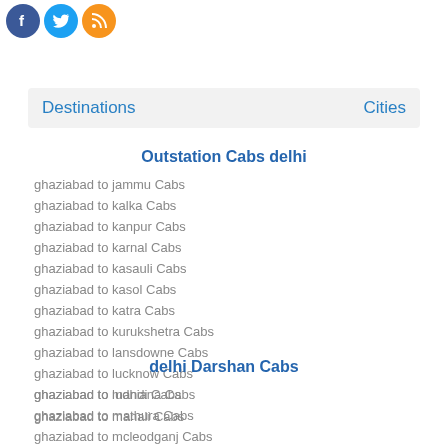[Figure (illustration): Three social media icon circles: Facebook (blue), Twitter (light blue), RSS (orange)]
Destinations    Cities
Outstation Cabs delhi
ghaziabad to jammu Cabs
ghaziabad to kalka Cabs
ghaziabad to kanpur Cabs
ghaziabad to karnal Cabs
ghaziabad to kasauli Cabs
ghaziabad to kasol Cabs
ghaziabad to katra Cabs
ghaziabad to kurukshetra Cabs
ghaziabad to lansdowne Cabs
ghaziabad to lucknow Cabs
ghaziabad to ludhiana Cabs
ghaziabad to manali Cabs
delhi Darshan Cabs
ghaziabad to mandi Cabs
ghaziabad to mathura Cabs
ghaziabad to mcleodganj Cabs
ghaziabad to meerut Cabs
ghaziabad to mehandipur balaji Cabs
ghaziabad to mumbai Cabs